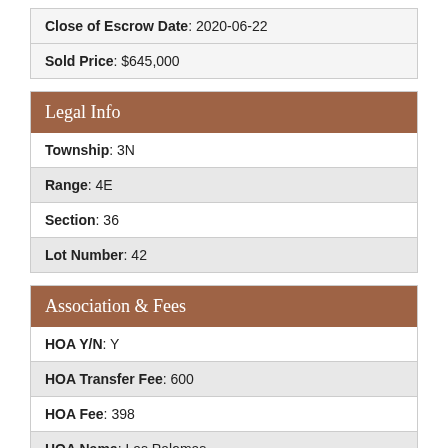| Close of Escrow Date: 2020-06-22 |
| Sold Price: $645,000 |
Legal Info
| Township: 3N |
| Range: 4E |
| Section: 36 |
| Lot Number: 42 |
Association & Fees
| HOA Y/N: Y |
| HOA Transfer Fee: 600 |
| HOA Fee: 398 |
| HOA Name: Las Palomas |